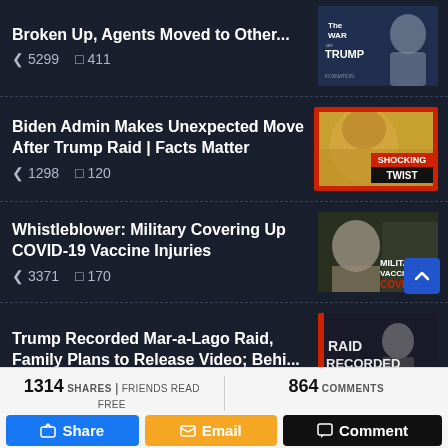Broken Up, Agents Moved to Other... — shares: 5299, comments: 411
Biden Admin Makes Unexpected Move After Trump Raid | Facts Matter — shares: 1298, comments: 120
Whistleblower: Military Covering Up COVID-19 Vaccine Injuries — shares: 3371, comments: 170
Trump Recorded Mar-a-Lago Raid, Family Plans to Release Video; Behi...
1314 SHARES | FRIENDS READ FREE
864 COMMENTS
Share
Email
Comment